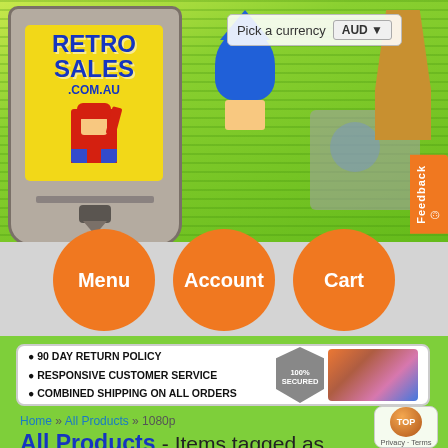[Figure (illustration): Retro Sales .com.au website header banner with game cartridge logo featuring Mario character, Sonic the Hedgehog pixel art, retro gaming console, and pixel art characters on green striped background. Currency picker showing AUD dropdown.]
[Figure (illustration): Three orange circular navigation buttons labeled Menu, Account, Cart on grey bar]
[Figure (infographic): White banner with bullet points: 90 DAY RETURN POLICY, RESPONSIVE CUSTOMER SERVICE, COMBINED SHIPPING ON ALL ORDERS, with 100% SECURED shield badge and pixel art game characters]
Home » All Products » 1080p
All Products - Items tagged as